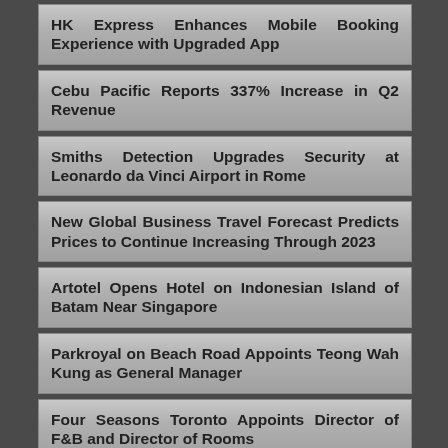HK Express Enhances Mobile Booking Experience with Upgraded App
Cebu Pacific Reports 337% Increase in Q2 Revenue
Smiths Detection Upgrades Security at Leonardo da Vinci Airport in Rome
New Global Business Travel Forecast Predicts Prices to Continue Increasing Through 2023
Artotel Opens Hotel on Indonesian Island of Batam Near Singapore
Parkroyal on Beach Road Appoints Teong Wah Kung as General Manager
Four Seasons Toronto Appoints Director of F&B and Director of Rooms
Marriott Opens Pet-Friendly Hotel in